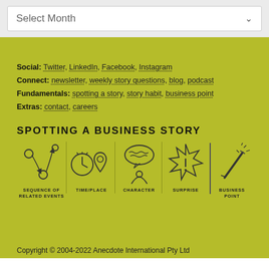[Figure (screenshot): Select Month dropdown UI element]
Social: Twitter, LinkedIn, Facebook, Instagram
Connect: newsletter, weekly story questions, blog, podcast
Fundamentals: spotting a story, story habit, business point
Extras: contact, careers
SPOTTING A BUSINESS STORY
[Figure (infographic): Five icons representing story elements: Sequence of Related Events, Time/Place, Character, Surprise, Business Point. The first four are separated from Business Point by a vertical dashed line.]
Copyright © 2004-2022 Anecdote International Pty Ltd